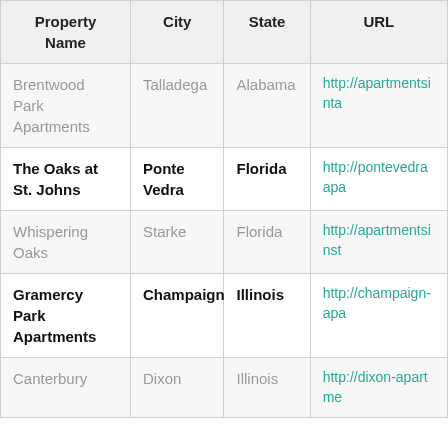| Property Name | City | State | URL |
| --- | --- | --- | --- |
| Brentwood Park Apartments | Talladega | Alabama | http://apartmentsinta... |
| The Oaks at St. Johns | Ponte Vedra | Florida | http://pontevedraapa... |
| Whispering Oaks | Starke | Florida | http://apartmentsinst... |
| Gramercy Park Apartments | Champaign | Illinois | http://champaign-apa... |
| Canterbury | Dixon | Illinois | http://dixon-apartme... |